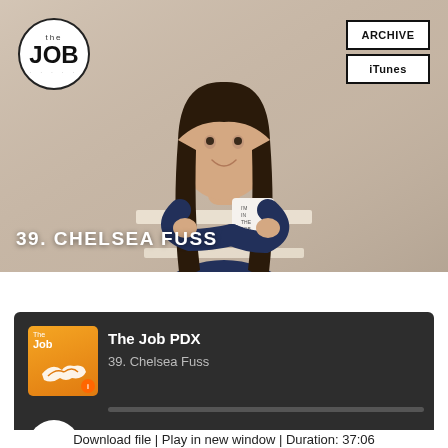[Figure (photo): Hero image of Chelsea Fuss, a young woman with long dark hair wearing a navy and white striped sweater, holding a white mug that reads 'I'm In The Job'. She stands against a beige/cream background. The 'The Job' podcast logo circle appears top-left. ARCHIVE and iTunes buttons appear top-right.]
39. CHELSEA FUSS
[Figure (screenshot): Podcast audio player widget with dark background showing 'The Job PDX' podcast, episode '39. Chelsea Fuss', with play button, skip controls (10 back, 1x speed, 30 forward), progress bar at 00:00 / 37:06]
Download file | Play in new window | Duration: 37:06